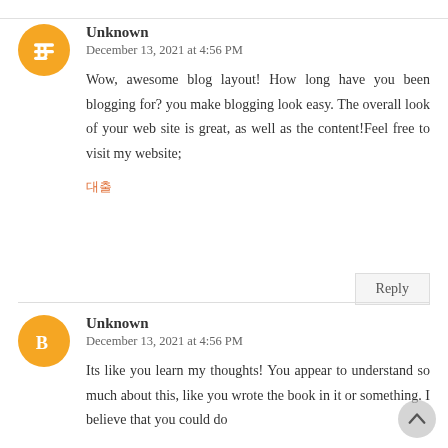[Figure (illustration): Orange circular avatar with blogger 'B' icon for first commenter]
Unknown
December 13, 2021 at 4:56 PM
Wow, awesome blog layout! How long have you been blogging for? you make blogging look easy. The overall look of your web site is great, as well as the content!Feel free to visit my website;
대출
Reply
[Figure (illustration): Orange circular avatar with blogger 'B' icon for second commenter]
Unknown
December 13, 2021 at 4:56 PM
Its like you learn my thoughts! You appear to understand so much about this, like you wrote the book in it or something. I believe that you could do